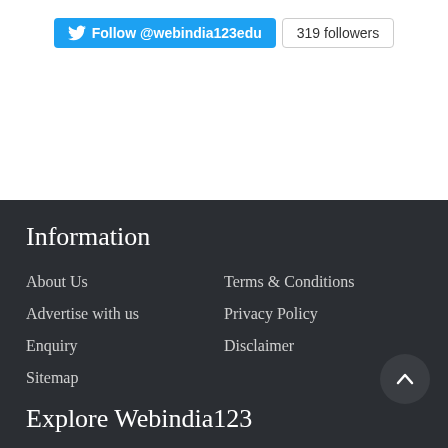[Figure (screenshot): Twitter Follow button for @webindia123edu with 319 followers count button]
Information
About Us
Terms & Conditions
Advertise with us
Privacy Policy
Enquiry
Disclaimer
Sitemap
Explore Webindia123